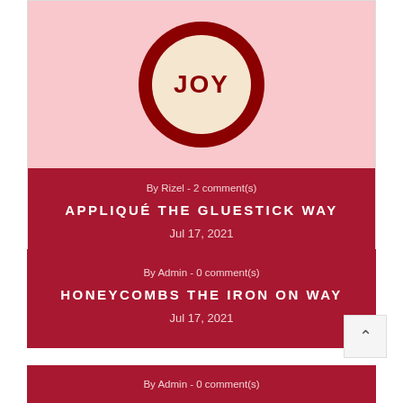[Figure (photo): Circular embroidery piece with red background and cream inner circle showing 'JOY' text in decorative embroidery on a pink background]
By Rizel - 2 comment(s)
APPLIQUÉ THE GLUESTICK WAY
Jul 17, 2021
By Admin - 0 comment(s)
HONEYCOMBS THE IRON ON WAY
Jul 17, 2021
By Admin - 0 comment(s)